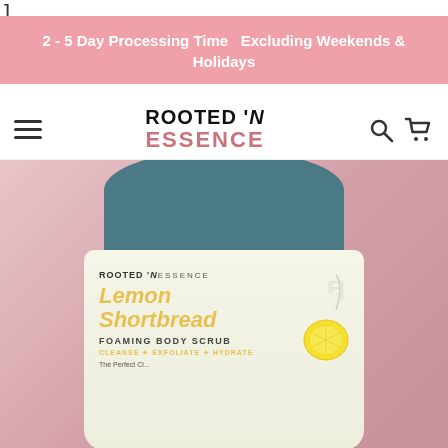]
2 - 5 Day Processing Time   Excluding Weekends & Holidays
[Figure (logo): Rooted 'N Essence logo with hamburger menu, search and cart icons in navigation bar]
[Figure (photo): Rooted 'N Essence Lemon Shortbread Foaming Body Scrub jar with teal lid on pink background. Label shows product name in yellow italic text, FOAMING BODY SCRUB in black, CLEANSE * EXFOLIATE * HYDRATE in gold, and tagline starting with 'The Perfect...']